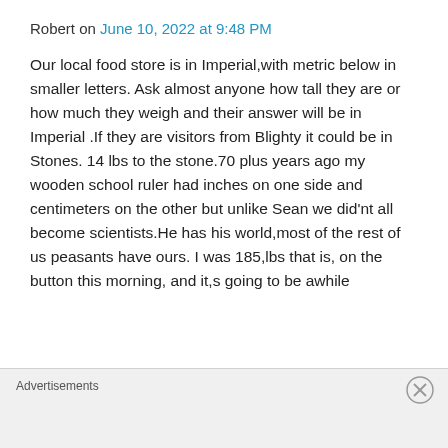Robert on June 10, 2022 at 9:48 PM
Our local food store is in Imperial,with metric below in smaller letters. Ask almost anyone how tall they are or how much they weigh and their answer will be in Imperial .If they are visitors from Blighty it could be in Stones. 14 lbs to the stone.70 plus years ago my wooden school ruler had inches on one side and centimeters on the other but unlike Sean we did'nt all become scientists.He has his world,most of the rest of us peasants have ours. I was 185,lbs that is, on the button this morning, and it,s going to be awhile
Advertisements